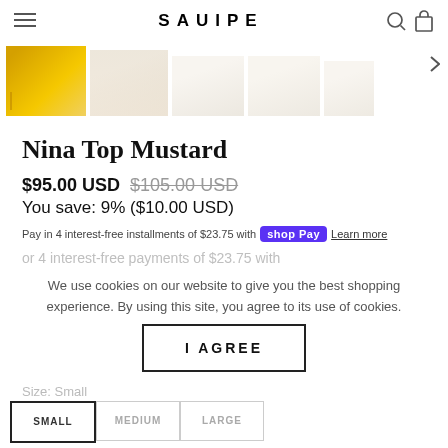SAUIPE
[Figure (photo): Thumbnail row of product images showing a yellow/mustard bikini top in various views, with a right arrow navigation indicator]
Nina Top Mustard
$95.00 USD $105.00 USD
You save: 9% ($10.00 USD)
Pay in 4 interest-free installments of $23.75 with Shop Pay Learn more
or 4 interest-free payments of $23.75 with
We use cookies on our website to give you the best shopping experience. By using this site, you agree to its use of cookies.
Size: Small
I AGREE
SMALL   MEDIUM   LARGE